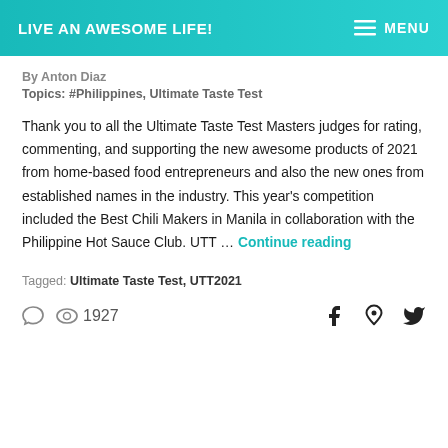LIVE AN AWESOME LIFE! | MENU
By Anton Diaz
Topics: #Philippines, Ultimate Taste Test
Thank you to all the Ultimate Taste Test Masters judges for rating, commenting, and supporting the new awesome products of 2021 from home-based food entrepreneurs and also the new ones from established names in the industry. This year’s competition included the Best Chili Makers in Manila in collaboration with the Philippine Hot Sauce Club. UTT … Continue reading
Tagged: Ultimate Taste Test, UTT2021
1927